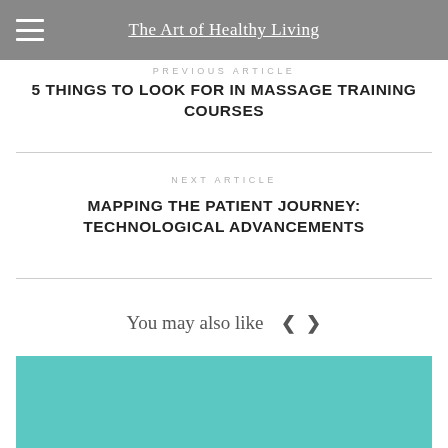The Art of Healthy Living
PREVIOUS ARTICLE
5 THINGS TO LOOK FOR IN MASSAGE TRAINING COURSES
NEXT ARTICLE
MAPPING THE PATIENT JOURNEY: TECHNOLOGICAL ADVANCEMENTS
You may also like
[Figure (photo): Teal/turquoise colored image block for 'You may also like' section]